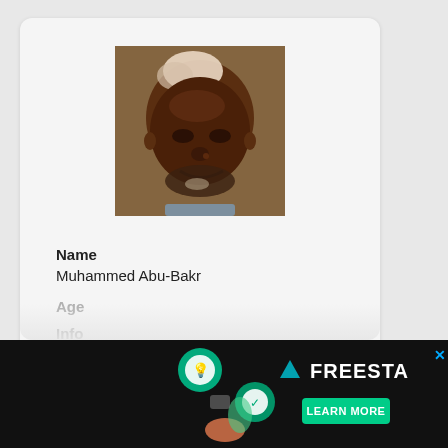[Figure (photo): Profile photo of an older man with a white patch on his head, dark complexion, short beard, smiling slightly, wearing a collared shirt.]
Name
Muhammed Abu-Bakr
Age
Info
[Figure (infographic): Advertisement banner: 'Tailored ad management solutions for every publisher' with FREESTA branding and LEARN MORE button on dark background.]